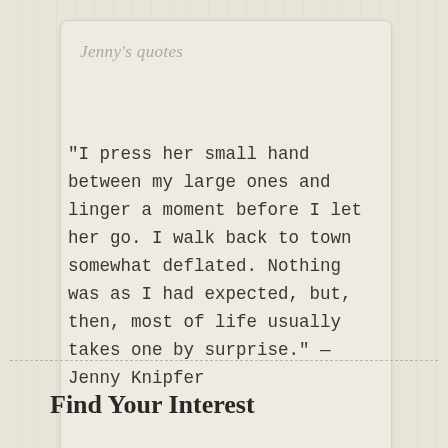Jenny's quotes
“I press her small hand between my large ones and linger a moment before I let her go. I walk back to town somewhat deflated. Nothing was as I had expected, but, then, most of life usually takes one by surprise.” —Jenny Knipfer
Goodreads Quotes
Find Your Interest